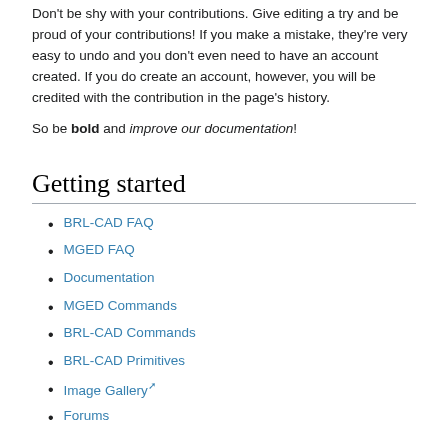Don't be shy with your contributions. Give editing a try and be proud of your contributions! If you make a mistake, they're very easy to undo and you don't even need to have an account created. If you do create an account, however, you will be credited with the contribution in the page's history.
So be bold and improve our documentation!
Getting started
BRL-CAD FAQ
MGED FAQ
Documentation
MGED Commands
BRL-CAD Commands
BRL-CAD Primitives
Image Gallery
Forums